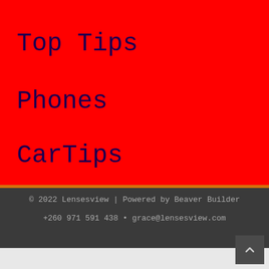Top Tips
Phones
CarTips
© 2022 Lensesview | Powered by Beaver Builder
+260 971 591 438 • grace@lensesview.com